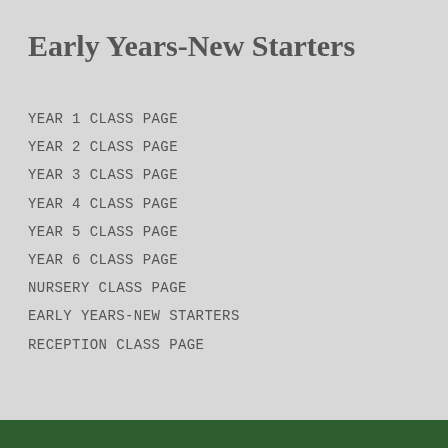Early Years-New Starters
YEAR 1 CLASS PAGE
YEAR 2 CLASS PAGE
YEAR 3 CLASS PAGE
YEAR 4 CLASS PAGE
YEAR 5 CLASS PAGE
YEAR 6 CLASS PAGE
NURSERY CLASS PAGE
EARLY YEARS-NEW STARTERS
RECEPTION CLASS PAGE